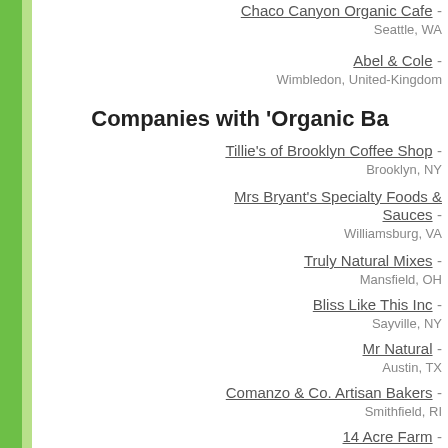Chaco Canyon Organic Cafe - Seattle, WA
Abel & Cole - Wimbledon, United-Kingdom
Companies with 'Organic Ba...
Tillie's of Brooklyn Coffee Shop - Brooklyn, NY
Mrs Bryant's Specialty Foods & Sauces - Williamsburg, VA
Truly Natural Mixes - Mansfield, OH
Bliss Like This Inc - Sayville, NY
Mr Natural - Austin, TX
Comanzo & Co. Artisan Bakers - Smithfield, RI
14 Acre Farm - Summit Hill, PA
The Vegan Divas - New York, NY